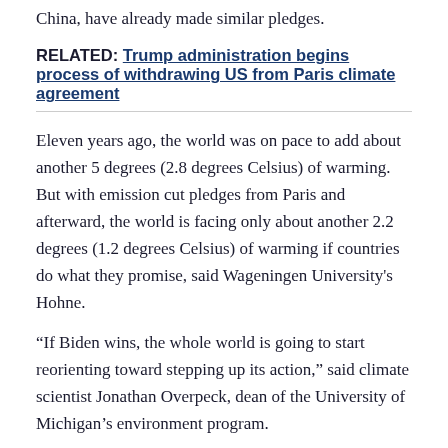China, have already made similar pledges.
RELATED: Trump administration begins process of withdrawing US from Paris climate agreement
Eleven years ago, the world was on pace to add about another 5 degrees (2.8 degrees Celsius) of warming. But with emission cut pledges from Paris and afterward, the world is facing only about another 2.2 degrees (1.2 degrees Celsius) of warming if countries do what they promise, said Wageningen University's Hohne.
“If Biden wins, the whole world is going to start reorienting toward stepping up its action,” said climate scientist Jonathan Overpeck, dean of the University of Michigan’s environment program.